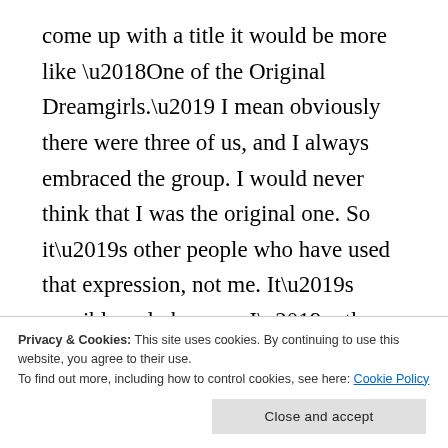come up with a title it would be more like ‘One of the Original Dreamgirls.’ I mean obviously there were three of us, and I always embraced the group. I would never think that I was the original one. So it’s other people who have used that expression, not me. It’s possibly only because I’m the only one who’s still thought of primarily as a Supreme, because Diane is Diana Ross, which goes beyond the Supremes. And Florence Ballard, the third member of our trio, has passed. So I think that’s why people are doing it. I really don’t like
Privacy & Cookies: This site uses cookies. By continuing to use this website, you agree to their use.
To find out more, including how to control cookies, see here: Cookie Policy
Close and accept